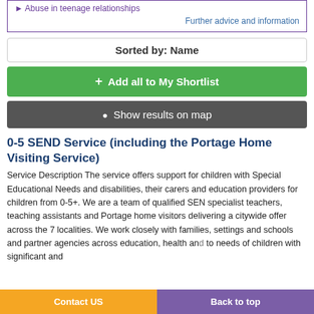Abuse in teenage relationships
Further advice and information
Sorted by: Name
+ Add all to My Shortlist
Show results on map
0-5 SEND Service (including the Portage Home Visiting Service)
Service Description The service offers support for children with Special Educational Needs and disabilities, their carers and education providers for children from 0-5+. We are a team of qualified SEN specialist teachers, teaching assistants and Portage home visitors delivering a citywide offer across the 7 localities. We work closely with families, settings and schools and partner agencies across education, health an... to needs of children with significant and... on
Contact US
Back to top